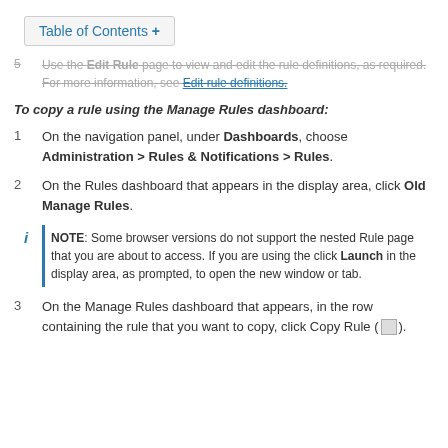Table of Contents +
5  Use the Edit Rule page to view and edit the rule definitions, as required. For more information, see Edit rule definitions.
To copy a rule using the Manage Rules dashboard:
1  On the navigation panel, under Dashboards, choose Administration > Rules & Notifications > Rules.
2  On the Rules dashboard that appears in the display area, click Old Manage Rules.
NOTE: Some browser versions do not support the nested Rule page that you are about to access. If you are using the click Launch in the display area, as prompted, to open the new window or tab.
3  On the Manage Rules dashboard that appears, in the row containing the rule that you want to copy, click Copy Rule ( ).